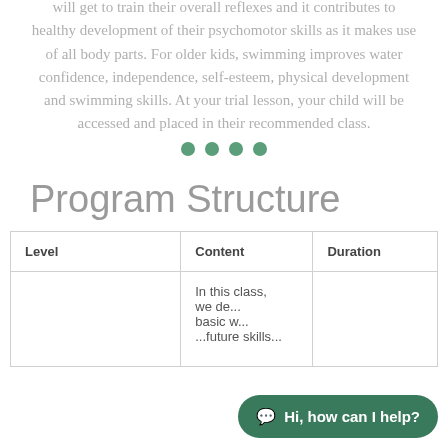will get to train their overall reflexes and it contributes to healthy development of their psychomotor skills as it makes use of all body parts. For older kids, swimming improves water confidence, independence, self-esteem, physical development and swimming skills. At your trial lesson, your child will be accessed and placed in their recommended class.
[Figure (other): Four green filled circle dots used as a decorative divider]
Program Structure
| Level | Content | Duration |
| --- | --- | --- |
|  | In this class, we de... basic w... ...future skills... |  |